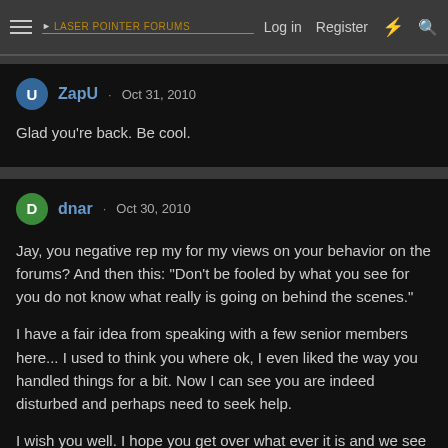Laser Pointer Forums — Log in | Register
ZapU · Oct 31, 2010
Glad you're back. Be cool.
dnar · Oct 30, 2010
Jay, you negative rep my for my views on your behavior on the forums? And then this: "Don't be fooled by what you see for you do not know what really is going on behind the scenes."

I have a fair idea from speaking with a few senior members here... I used to think you where ok, I even liked the way you handled things for a bit. Now I can see you are indeed disturbed and perhaps need to seek help.

I wish you well. I hope you get over what ever it is and we see